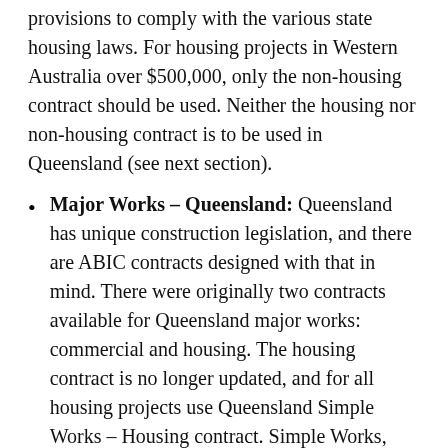provisions to comply with the various state housing laws. For housing projects in Western Australia over $500,000, only the non-housing contract should be used. Neither the housing nor non-housing contract is to be used in Queensland (see next section).
Major Works – Queensland: Queensland has unique construction legislation, and there are ABIC contracts designed with that in mind. There were originally two contracts available for Queensland major works: commercial and housing. The housing contract is no longer updated, and for all housing projects use Queensland Simple Works – Housing con[tract. Simple Works, like the Major Works con...]